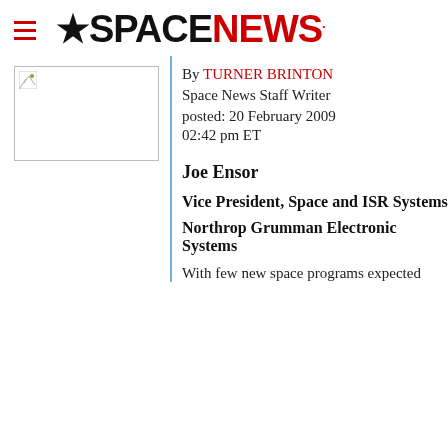SPACENEWS
By TURNER BRINTON
Space News Staff Writer
posted: 20 February 2009
02:42 pm ET
[Figure (photo): Placeholder image thumbnail on the left column]
Joe Ensor
Vice President, Space and ISR Systems
Northrop Grumman Electronic Systems
With few new space programs expected